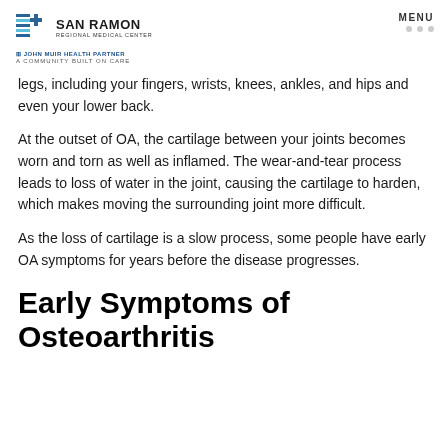SAN RAMON REGIONAL MEDICAL CENTER | A JOHN MUIR HEALTH PARTNER | A COMMUNITY BUILT ON CARE | MENU
legs, including your fingers, wrists, knees, ankles, and hips and even your lower back.
At the outset of OA, the cartilage between your joints becomes worn and torn as well as inflamed. The wear-and-tear process leads to loss of water in the joint, causing the cartilage to harden, which makes moving the surrounding joint more difficult.
As the loss of cartilage is a slow process, some people have early OA symptoms for years before the disease progresses.
Early Symptoms of Osteoarthritis